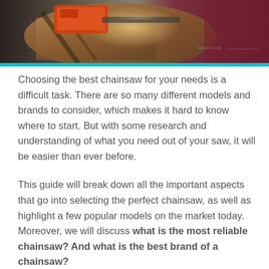[Figure (photo): Person using a chainsaw cutting through wood with sawdust flying, orange chainsaw visible, dark background with reddish-brown gradient on right]
Choosing the best chainsaw for your needs is a difficult task. There are so many different models and brands to consider, which makes it hard to know where to start. But with some research and understanding of what you need out of your saw, it will be easier than ever before.
This guide will break down all the important aspects that go into selecting the perfect chainsaw, as well as highlight a few popular models on the market today. Moreover, we will discuss what is the most reliable chainsaw? And what is the best brand of a chainsaw?
First off, let's cover how you can use this information when shopping around for your next chainsaw